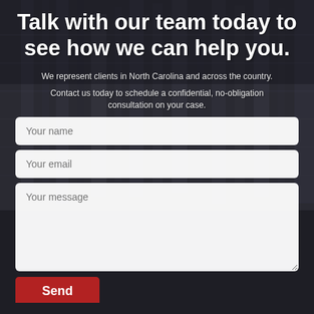Talk with our team today to see how we can help you.
We represent clients in North Carolina and across the country.
Contact us today to schedule a confidential, no-obligation consultation on your case.